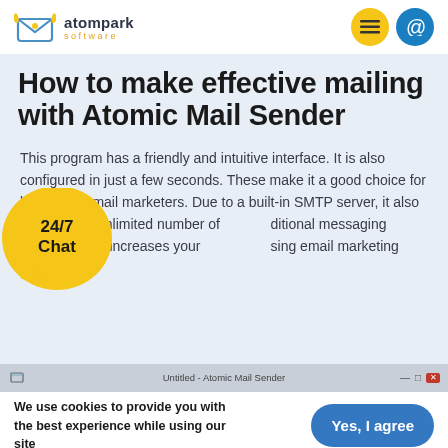atompark software
How to make effective mailing with Atomic Mail Sender
This program has a friendly and intuitive interface. It is also configured in just a few seconds. These make it a good choice for beginning email marketers. Due to a built-in SMTP server, it also supports an unlimited number of additional messaging servers which increases your using email marketing effectively.
[Figure (screenshot): Screenshot title bar showing 'Untitled - Atomic Mail Sender' with minimize/maximize/close controls]
We use cookies to provide you with the best experience while using our site